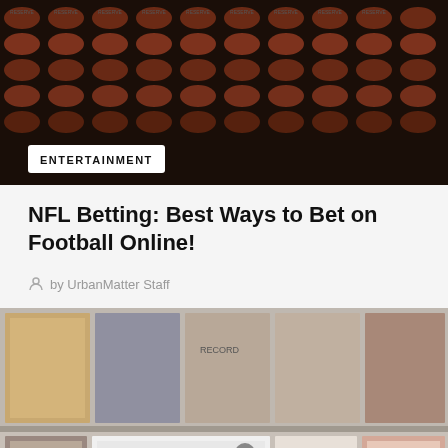[Figure (photo): Stadium seats filled with orange/red chairs viewed from above, dark background]
ENTERTAINMENT
NFL Betting: Best Ways to Bet on Football Online!
by UrbanMatter Staff
[Figure (photo): Record store or gallery wall with vinyl album covers on display shelves, including a Woodstock album prominently visible]